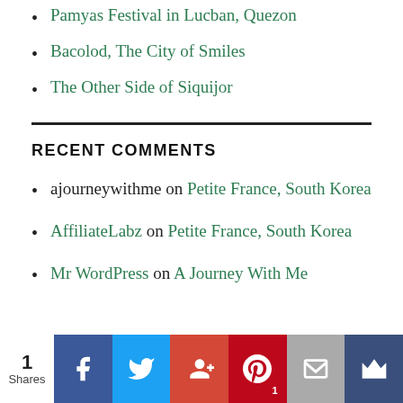Pamyas Festival in Lucban, Quezon
Bacolod, The City of Smiles
The Other Side of Siquijor
RECENT COMMENTS
ajourneywithme on Petite France, South Korea
AffiliateLabz on Petite France, South Korea
Mr WordPress on A Journey With Me